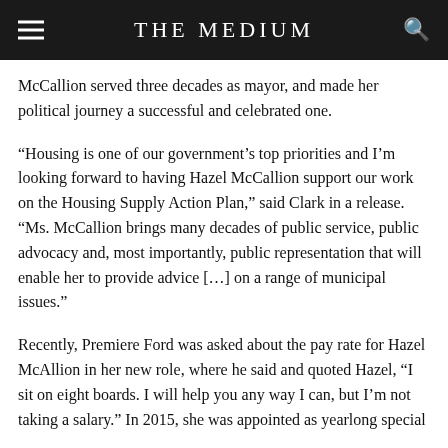THE MEDIUM
McCallion served three decades as mayor, and made her political journey a successful and celebrated one.
“Housing is one of our government’s top priorities and I’m looking forward to having Hazel McCallion support our work on the Housing Supply Action Plan,” said Clark in a release. “Ms. McCallion brings many decades of public service, public advocacy and, most importantly, public representation that will enable her to provide advice […] on a range of municipal issues.”
Recently, Premiere Ford was asked about the pay rate for Hazel McAllion in her new role, where he said and quoted Hazel, “I sit on eight boards. I will help you any way I can, but I’m not taking a salary.” In 2015, she was appointed as yearlong special